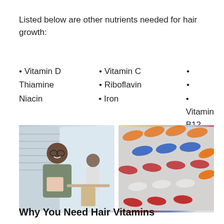Listed below are other nutrients needed for hair growth:
• Vitamin D
• Vitamin C
• Thiamine
• Riboflavin
• Niacin
• Iron
• Vitamin B12
[Figure (photo): A smiling woman sitting in a medical clinic with a healthcare worker visible in the background]
[Figure (photo): Blister packs of various colorful capsules and pills including orange, blue, red, and white]
Why You Need Hair Vitamins